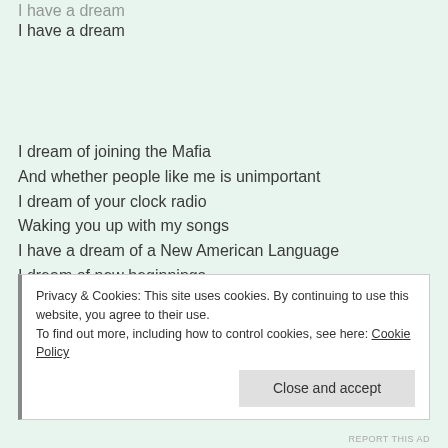I have a dream
I have a dream
I dream of joining the Mafia
And whether people like me is unimportant
I dream of your clock radio
Waking you up with my songs
I have a dream of a New American Language
I dream of new beginnings
I dream of saturation bombing
I dream mostly about love "
Privacy & Cookies: This site uses cookies. By continuing to use this website, you agree to their use.
To find out more, including how to control cookies, see here: Cookie Policy

Close and accept